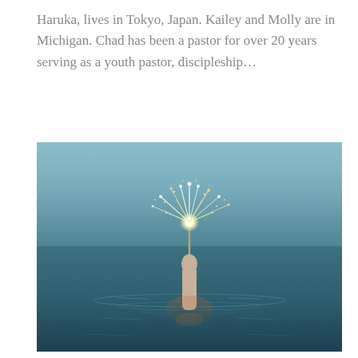Haruka, lives in Tokyo, Japan. Kailey and Molly are in Michigan. Chad has been a pastor for over 20 years serving as a youth pastor, discipleship…
[Figure (photo): A hand emerging from open water holding a lit sparkler, with sparks exploding upward against a blue-gray ocean and sky background.]